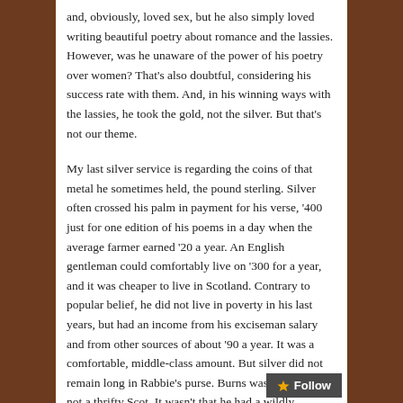and, obviously, loved sex, but he also simply loved writing beautiful poetry about romance and the lassies. However, was he unaware of the power of his poetry over women? That's also doubtful, considering his success rate with them. And, in his winning ways with the lassies, he took the gold, not the silver. But that's not our theme.

My last silver service is regarding the coins of that metal he sometimes held, the pound sterling. Silver often crossed his palm in payment for his verse, '400 just for one edition of his poems in a day when the average farmer earned '20 a year. An English gentleman could comfortably live on '300 for a year, and it was cheaper to live in Scotland. Contrary to popular belief, he did not live in poverty in his last years, but had an income from his exciseman salary and from other sources of about '90 a year. It was a comfortable, middle-class amount. But silver did not remain long in Rabbie's purse. Burns was a Scot, but not a thrifty Scot. It wasn't that he had a wildly extravagant lifestyle, but neither was he frugal. He quite simply made poor financial choices and lived beyond